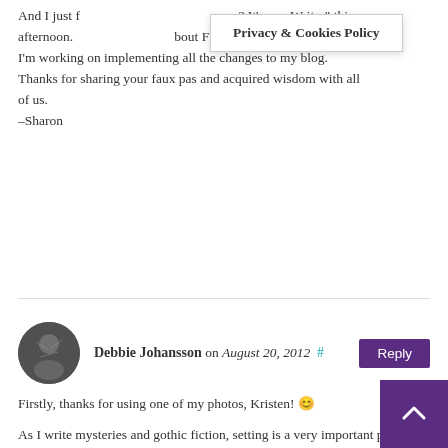And I just f[ound] [I]t's me, Writer" this afternoon. [text obscured by banner] bout FB and Twitter, but I'm working on implementing all the changes to my blog. Thanks for sharing your faux pas and acquired wisdom with all of us.
–Sharon
Privacy & Cookies Policy
Debbie Johansson on August 20, 2012 # Reply
Firstly, thanks for using one of my photos, Kristen! 😄
As I write mysteries and gothic fiction, setting is a very important part of my writing. One of the books/movies on setting that really stands out for me is Picnic at Hanging Rock. I remember seeing the movie when I was about seven (yes I know I'm showing my age), but it had quite a profound affect on me that's lasted to this day. The setting being a volcanic rock formation in the middle of the Australian bush on a summer's day. Not exactly your traditional setting for an story!